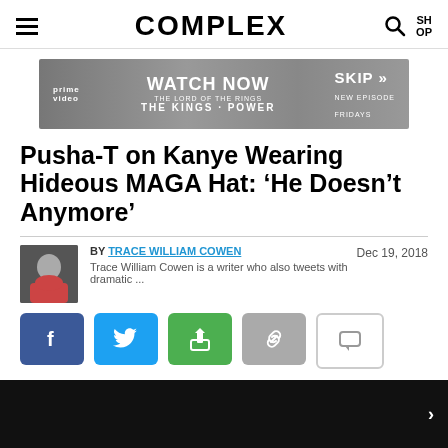COMPLEX
[Figure (screenshot): Amazon Prime Video advertisement banner for 'The Lord of the Rings: The Rings of Power' with text WATCH NOW, SKIP, NEW EPISODE FRIDAYS]
Pusha-T on Kanye Wearing Hideous MAGA Hat: 'He Doesn't Anymore'
BY TRACE WILLIAM COWEN — Dec 19, 2018 — Trace William Cowen is a writer who also tweets with dramatic ...
[Figure (infographic): Social sharing buttons: Facebook, Twitter, Share, Link, Comment]